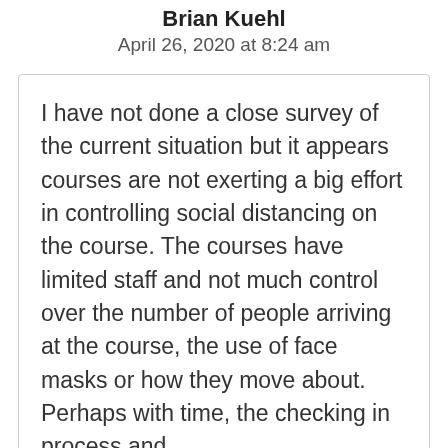Brian Kuehl
April 26, 2020 at 8:24 am
I have not done a close survey of the current situation but it appears courses are not exerting a big effort in controlling social distancing on the course. The courses have limited staff and not much control over the number of people arriving at the course, the use of face masks or how they move about. Perhaps with time, the checking in process and